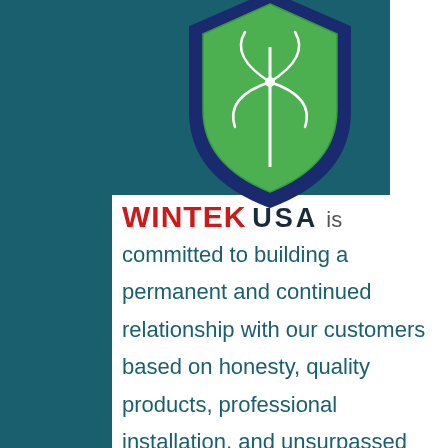[Figure (logo): Wintek USA shield logo — dark blue shield outline with green leaf/shield interior and white wind turbine graphic in the center]
WINTEK USA is committed to building a permanent and continued relationship with our customers based on honesty, quality products, professional installation, and unsurpassed